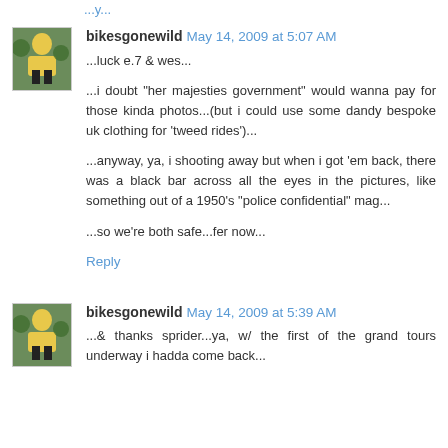...luck e.7 & wes...
bikesgonewild May 14, 2009 at 5:07 AM
...luck e.7 & wes...

...i doubt "her majesties government" would wanna pay for those kinda photos...(but i could use some dandy bespoke uk clothing for 'tweed rides')...

...anyway, ya, i shooting away but when i got 'em back, there was a black bar across all the eyes in the pictures, like something out of a 1950's "police confidential" mag...

...so we're both safe...fer now...
Reply
bikesgonewild May 14, 2009 at 5:39 AM
...& thanks sprider...ya, w/ the first of the grand tours underway i hadda come back...